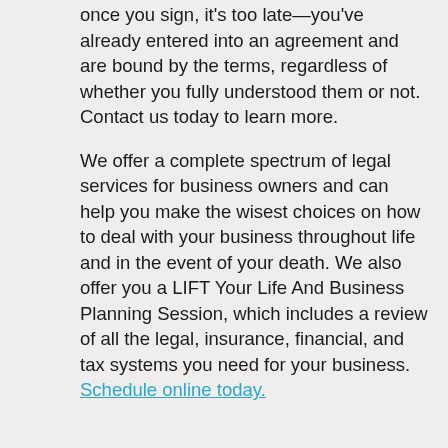once you sign, it's too late—you've already entered into an agreement and are bound by the terms, regardless of whether you fully understood them or not. Contact us today to learn more.
We offer a complete spectrum of legal services for business owners and can help you make the wisest choices on how to deal with your business throughout life and in the event of your death. We also offer you a LIFT Your Life And Business Planning Session, which includes a review of all the legal, insurance, financial, and tax systems you need for your business. Schedule online today.